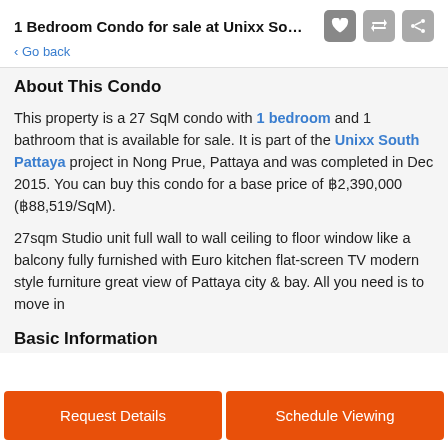1 Bedroom Condo for sale at Unixx Sout... < Go back
About This Condo
This property is a 27 SqM condo with 1 bedroom and 1 bathroom that is available for sale. It is part of the Unixx South Pattaya project in Nong Prue, Pattaya and was completed in Dec 2015. You can buy this condo for a base price of ฿2,390,000 (฿88,519/SqM).
27sqm Studio unit full wall to wall ceiling to floor window like a balcony fully furnished with Euro kitchen flat-screen TV modern style furniture great view of Pattaya city & bay. All you need is to move in
Basic Information
Request Details
Schedule Viewing